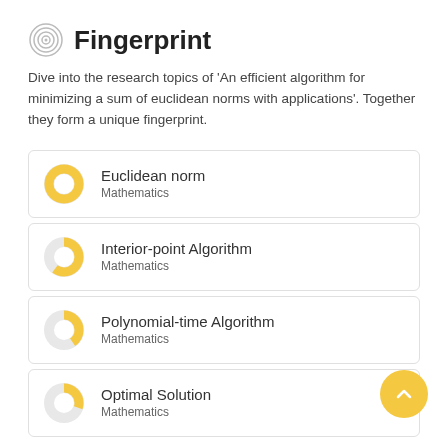Fingerprint
Dive into the research topics of 'An efficient algorithm for minimizing a sum of euclidean norms with applications'. Together they form a unique fingerprint.
Euclidean norm
Mathematics
Interior-point Algorithm
Mathematics
Polynomial-time Algorithm
Mathematics
Optimal Solution
Mathematics